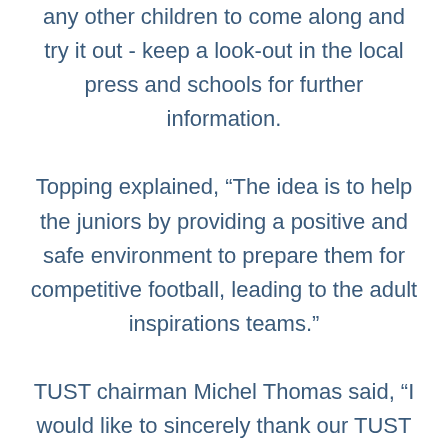any other children to come along and try it out - keep a look-out in the local press and schools for further information. Topping explained, “The idea is to help the juniors by providing a positive and safe environment to prepare them for competitive football, leading to the adult inspirations teams.” TUST chairman Michel Thomas said, “I would like to sincerely thank our TUST membership for their continuing support in reaching out to